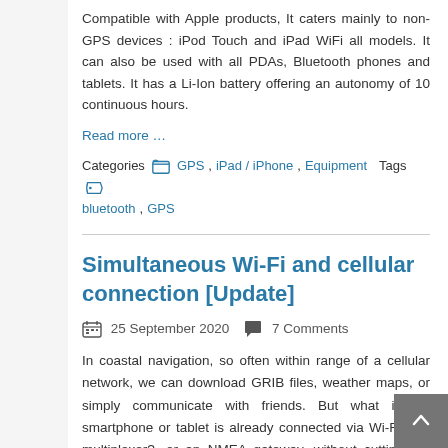Compatible with Apple products, It caters mainly to non-GPS devices : iPod Touch and iPad WiFi all models. It can also be used with all PDAs, Bluetooth phones and tablets. It has a Li-Ion battery offering an autonomy of 10 continuous hours.
Read more …
Categories  GPS, iPad / iPhone, Equipment  Tags  bluetooth, GPS
Simultaneous Wi-Fi and cellular connection [Update]
25 September 2020  7 Comments
In coastal navigation, so often within range of a cellular network, we can download GRIB files, weather maps, or simply communicate with friends. But what if our smartphone or tablet is already connected via Wi-Fi to a multiplexer?, or an NMEA gateway, without cutting the data that feeds our favorite navigation